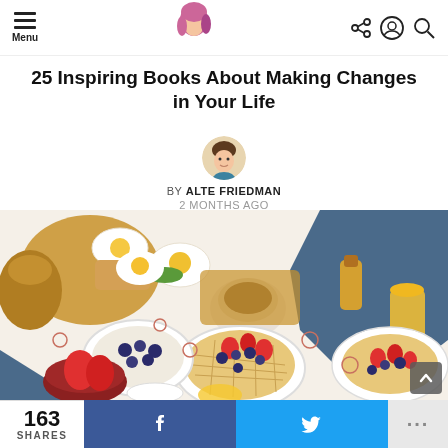Menu | [logo] | [share icon] [user icon] [search icon]
25 Inspiring Books About Making Changes in Your Life
BY ALTE FRIEDMAN
2 MONTHS AGO
[Figure (photo): Overhead flat-lay photo of a breakfast table spread with waffles topped with strawberries and blueberries, fried eggs on toast, a cup of coffee, orange juice, and various dishes on a white floral tablecloth]
163
SHARES